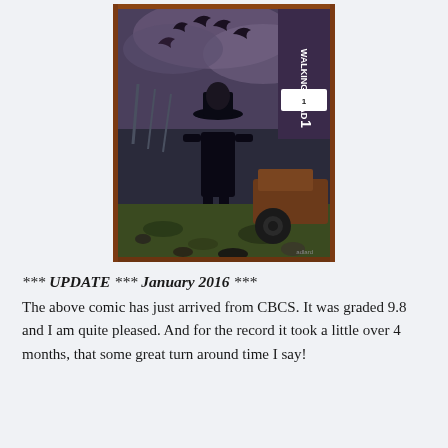[Figure (illustration): Comic book cover of The Walking Dead #1 showing a lone figure in a cowboy hat standing in a post-apocalyptic landscape with crows flying overhead and a rusted car in the background. The cover has a brown/rust colored border.]
*** UPDATE *** January 2016 ***
The above comic has just arrived from CBCS. It was graded 9.8 and I am quite pleased. And for the record it took a little over 4 months, that some great turn around time I say!